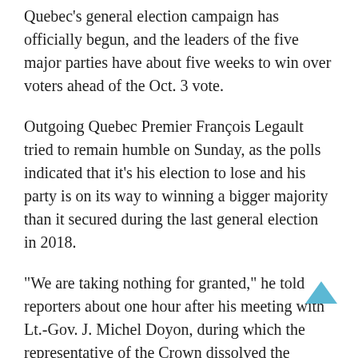Quebec's general election campaign has officially begun, and the leaders of the five major parties have about five weeks to win over voters ahead of the Oct. 3 vote.
Outgoing Quebec Premier François Legault tried to remain humble on Sunday, as the polls indicated that it's his election to lose and his party is on its way to winning a bigger majority than it secured during the last general election in 2018.
“We are taking nothing for granted,” he told reporters about one hour after his meeting with Lt.-Gov. J. Michel Doyon, during which the representative of the Crown dissolved the legislature and declared the general election.
“If there is one thing I learned in politics, it’s that trust is earned every day.”